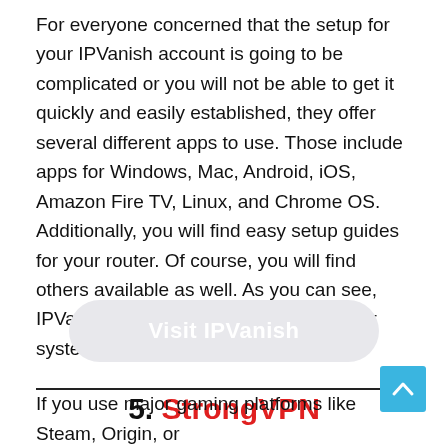For everyone concerned that the setup for your IPVanish account is going to be complicated or you will not be able to get it quickly and easily established, they offer several different apps to use. Those include apps for Windows, Mac, Android, iOS, Amazon Fire TV, Linux, and Chrome OS. Additionally, you will find easy setup guides for your router. Of course, you will find others available as well. As you can see, IPVanish has you covered, so whichever system you use will be smooth.
[Figure (other): A rounded pill-shaped button with light gray background and white text reading 'Visit IPVanish']
5. StrongVPN
[Figure (other): A back-to-top arrow button, light blue square with white upward chevron arrow]
If you use major gaming platforms like Steam, Origin, or